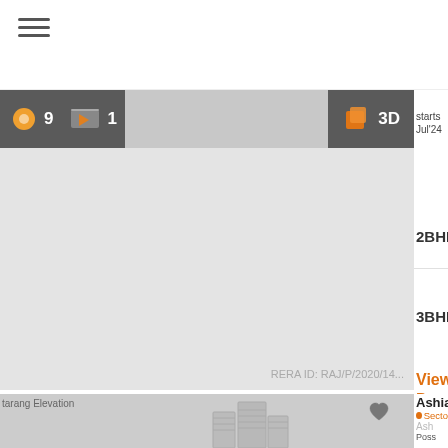[Figure (screenshot): Mobile app screenshot showing a real estate listing interface with tab bar (9 photos, 1 video, 3D view), a large grey image area, RERA ID text, 2BHK and 3BHK options, View Details link in orange, and a second listing card at bottom for Ashia with sector location and building icon]
starts Jul'24
2BHK
3BHK
RERA ID: RAJ/P/2020/14...
View Details
tarang Elevation
Ashia
Secto
Ash
Poss